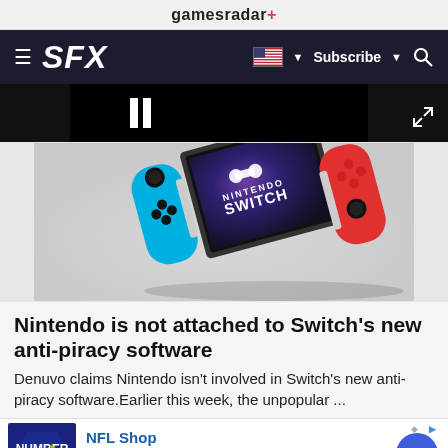gamesradar+
SFX  Subscribe
[Figure (screenshot): Nintendo Switch console promotional image showing the handheld device with blue and red Joy-Con controllers detached, Nintendo Switch logo on screen, floating on light background. Above it a dark video player bar with pause button and expand icon.]
Nintendo is not attached to Switch's new anti-piracy software
Denuvo claims Nintendo isn't involved in Switch's new anti-piracy software.Earlier this week, the unpopular ...
NFL Shop
Free shipping on orders over $25
www.nflshop.com